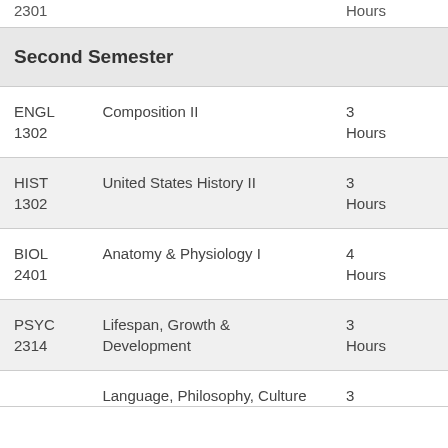| Course | Title | Hours |
| --- | --- | --- |
| Second Semester |  |  |
| ENGL 1302 | Composition II | 3 Hours |
| HIST 1302 | United States History II | 3 Hours |
| BIOL 2401 | Anatomy & Physiology I | 4 Hours |
| PSYC 2314 | Lifespan, Growth & Development | 3 Hours |
|  | Language, Philosophy, Culture ... | 3 Hours |